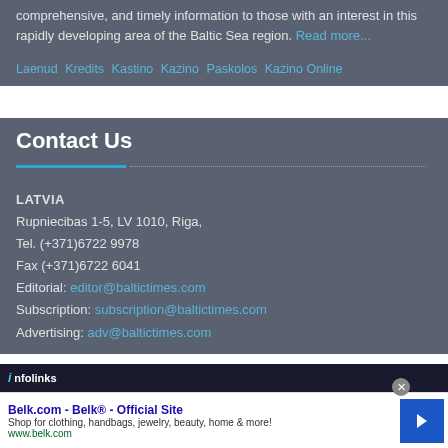comprehensive, and timely information to those with an interest in this rapidly developing area of the Baltic Sea region. Read more...
Laenud Kredits Kastino Kazino Paskolos Kazino Online
Contact Us
LATVIA
Rupniecibas 1-5, LV 1010, Riga,
Tel. (+371)6722 9978
Fax (+371)6722 6041
Editorial: editor@baltictimes.com
Subscription: subscription@baltictimes.com
Advertising: adv@baltictimes.com
[Figure (screenshot): Advertisement banner - Belk.com Belk Official Site with blue arrow button]